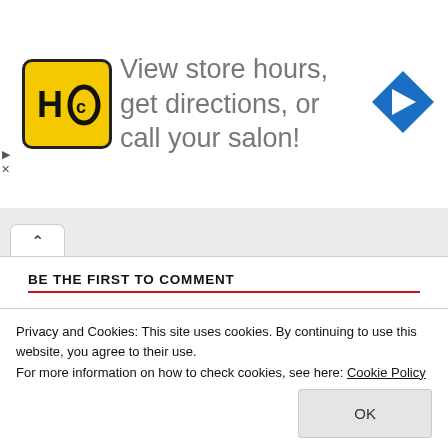[Figure (other): Advertisement banner with HC (Hairclub) logo, text 'View store hours, get directions, or call your salon!', and a blue navigation arrow icon. Small play and close controls on the left.]
BE THE FIRST TO COMMENT
Comments
Yorumunuzu buraya yazın...
Privacy and Cookies: This site uses cookies. By continuing to use this website, you agree to their use.
For more information on how to check cookies, see here: Cookie Policy